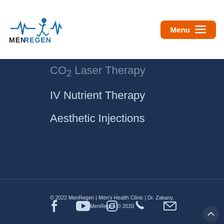[Figure (logo): MenRegen logo with running man silhouette and heartbeat line]
Menu
CO2 Laser Therapy
IV Nutrient Therapy
Aesthetic Injections
© 2022 MenRegen | Men's Health Clinic | Dr. Zakany. MenRegen © 2020